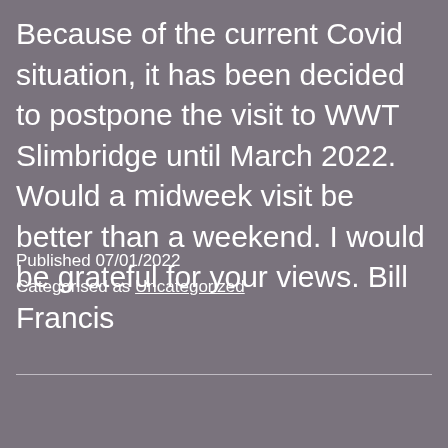Because of the current Covid situation, it has been decided to postpone the visit to WWT Slimbridge until March 2022. Would a midweek visit be better than a weekend. I would be grateful for your views. Bill Francis
Published 07/01/2022
Categorised as Uncategorized